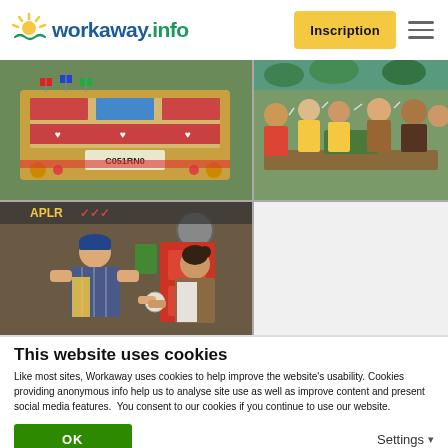workaway.info — Inscription
[Figure (photo): Three photos: top-left shows the back of a decorated colorful bus with license plate C051RN0; top-right shows a group of young people toasting around a table outdoors; bottom-left shows two people in yellow aprons working with food in a kitchen.]
This website uses cookies
Like most sites, Workaway uses cookies to help improve the website's usability. Cookies providing anonymous info help us to analyse site use as well as improve content and present social media features.  You consent to our cookies if you continue to use our website.
OK
Settings